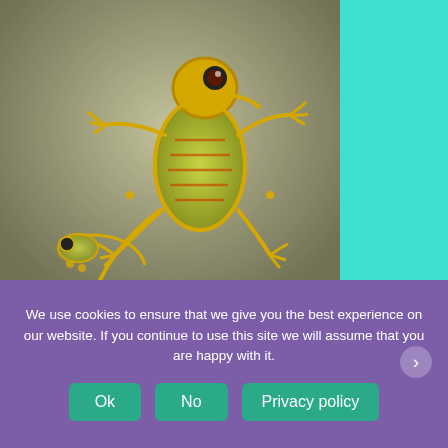[Figure (photo): A gold and green enamel gecko/lizard brooch jewelry piece photographed against a neutral background, with teal panel visible on the right side]
ℹ We noticed you're visiting from United States (US). We've updated our prices to United States (US) dollar for your shopping convenience.
Use canadian dollar instead.
We use cookies to ensure that we give you the best experience on our website. If you continue to use this site we will assume that you are happy with it.
Ok   No   Privacy policy